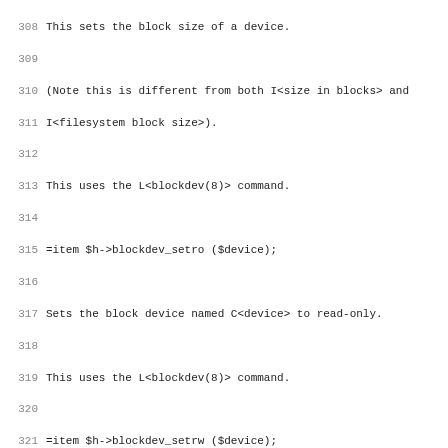308 This sets the block size of a device.
309
310 (Note this is different from both I<size in blocks> and
311 I<filesystem block size>).
312
313 This uses the L<blockdev(8)> command.
314
315 =item $h->blockdev_setro ($device);
316
317 Sets the block device named C<device> to read-only.
318
319 This uses the L<blockdev(8)> command.
320
321 =item $h->blockdev_setrw ($device);
322
323 Sets the block device named C<device> to read-write.
324
325 This uses the L<blockdev(8)> command.
326
327 =item $content = $h->cat ($path);
328
329 Return the contents of the file named C<path>.
330
331 Note that this function cannot correctly handle binary
332 (specifically, files containing C<\0> character which i
333 as end of string).  For those you need to use the C<$h-
334 function which has a more complex interface.
335
336 Because of the message protocol, there is a transfer li
337 of somewhere between 2MB and 4MB.  To transfer large fi
338 FTP.
339